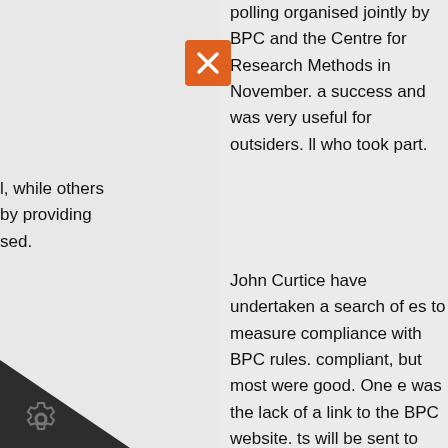polling organised jointly by BPC and the Centre for Research Methods in November. a success and was very useful for outsiders. ll who took part.
l, while others by providing sed.
John Curtice have undertaken a search of es to measure compliance with BPC rules. compliant, but most were good. One e was the lack of a link to the BPC website. ts will be sent to members about their own
Report:
ignatures on the account has now finally nd Nick Moon will shortly be in possession nts and cheque books. He will prepare a and circulate this for comment. Invoices o for 2010 and 2011 will shortly be sent out,
ctionality. The hout these y changing